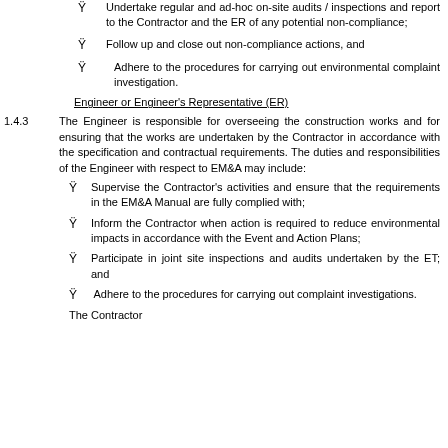Undertake regular and ad-hoc on-site audits / inspections and report to the Contractor and the ER of any potential non-compliance;
Follow up and close out non-compliance actions, and
Adhere to the procedures for carrying out environmental complaint investigation.
Engineer or Engineer's Representative (ER)
1.4.3   The Engineer is responsible for overseeing the construction works and for ensuring that the works are undertaken by the Contractor in accordance with the specification and contractual requirements. The duties and responsibilities of the Engineer with respect to EM&A may include:
Supervise the Contractor's activities and ensure that the requirements in the EM&A Manual are fully complied with;
Inform the Contractor when action is required to reduce environmental impacts in accordance with the Event and Action Plans;
Participate in joint site inspections and audits undertaken by the ET; and
Adhere to the procedures for carrying out complaint investigations.
The Contractor